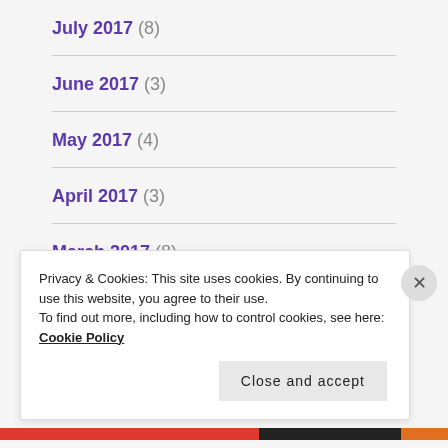July 2017 (8)
June 2017 (3)
May 2017 (4)
April 2017 (3)
March 2017 (8)
February 2017 (6)
Privacy & Cookies: This site uses cookies. By continuing to use this website, you agree to their use. To find out more, including how to control cookies, see here: Cookie Policy
Close and accept